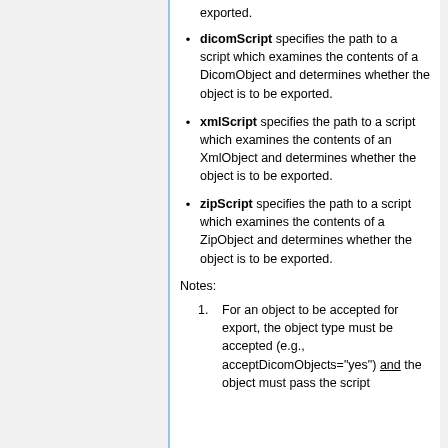exported.
dicomScript specifies the path to a script which examines the contents of a DicomObject and determines whether the object is to be exported.
xmlScript specifies the path to a script which examines the contents of an XmlObject and determines whether the object is to be exported.
zipScript specifies the path to a script which examines the contents of a ZipObject and determines whether the object is to be exported.
Notes:
For an object to be accepted for export, the object type must be accepted (e.g., acceptDicomObjects="yes") and the object must pass the script